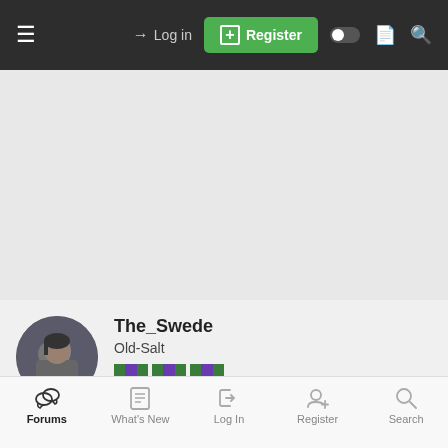Log in | Register
[Figure (photo): Advertisement / empty gray area placeholder]
[Figure (photo): User avatar: circular profile photo of a person]
The_Swede
Old-Salt
21 Dec 2006  #15
I believe that they are looking at an option to accompany the Old the CLU this to be the Anti-recognition BOX so that lines the
Forums | What's New | Log In | Register | Search